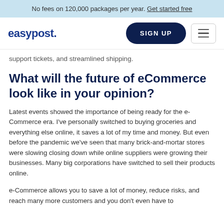No fees on 120,000 packages per year. Get started free
easypost. SIGN UP [menu]
support tickets, and streamlined shipping.
What will the future of eCommerce look like in your opinion?
Latest events showed the importance of being ready for the e-Commerce era. I've personally switched to buying groceries and everything else online, it saves a lot of my time and money. But even before the pandemic we've seen that many brick-and-mortar stores were slowing closing down while online suppliers were growing their businesses. Many big corporations have switched to sell their products online.
e-Commerce allows you to save a lot of money, reduce risks, and reach many more customers and you don't even have to